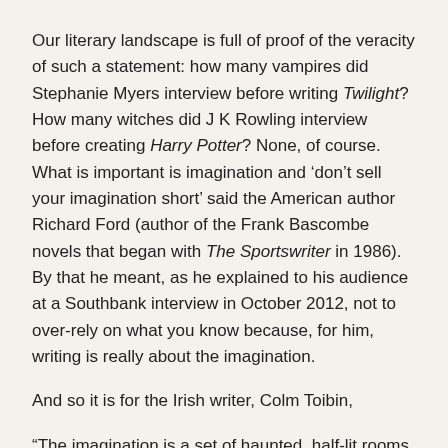Our literary landscape is full of proof of the veracity of such a statement: how many vampires did Stephanie Myers interview before writing Twilight? How many witches did J K Rowling interview before creating Harry Potter? None, of course. What is important is imagination and 'don't sell your imagination short' said the American author Richard Ford (author of the Frank Bascombe novels that began with The Sportswriter in 1986). By that he meant, as he explained to his audience at a Southbank interview in October 2012, not to over-rely on what you know because, for him, writing is really about the imagination.
And so it is for the Irish writer, Colm Toibin,
“The imagination is a set of haunted, half-lit rooms. Sometimes we have no idea ourselves why a novel begins, why a style takes root, or a plot grows.” More about this later.
In his essay about Henry James and his final abode, Lamb House,